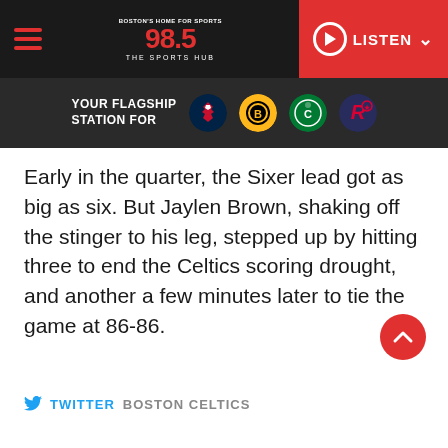98.5 The Sports Hub — Boston's Home for Sports — YOUR FLAGSHIP STATION FOR [Patriots, Bruins, Celtics, Revolution logos] — LISTEN
Early in the quarter, the Sixer lead got as big as six. But Jaylen Brown, shaking off the stinger to his leg, stepped up by hitting three to end the Celtics scoring drought, and another a few minutes later to tie the game at 86-86.
TWITTER  BOSTON CELTICS